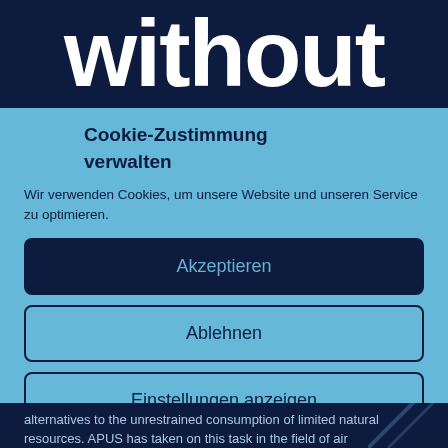without
Cookie-Zustimmung verwalten
Wir verwenden Cookies, um unsere Website und unseren Service zu optimieren.
Akzeptieren
Ablehnen
Einstellungen anzeigen
alternatives to the unrestrained consumption of limited natural resources. APUS has taken on this task in the field of air transportation. Our aim is to